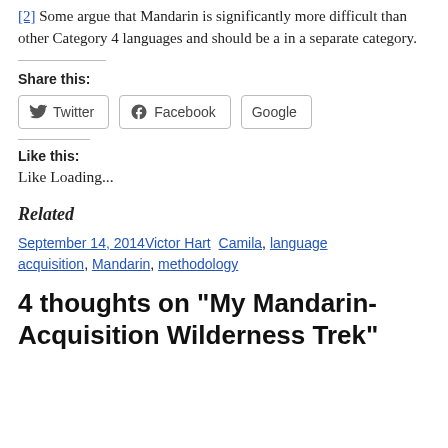[2] Some argue that Mandarin is significantly more difficult than other Category 4 languages and should be a in a separate category.
Share this:
Twitter  Facebook  Google
Like this:
Like Loading...
Related
September 14, 2014Victor Hart  Camila, language acquisition, Mandarin, methodology
4 thoughts on “My Mandarin-Acquisition Wilderness Trek”